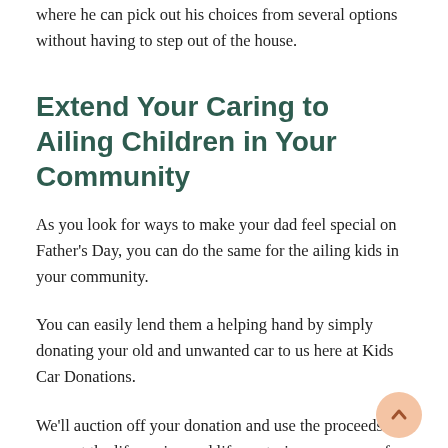where he can pick out his choices from several options without having to step out of the house.
Extend Your Caring to Ailing Children in Your Community
As you look for ways to make your dad feel special on Father's Day, you can do the same for the ailing kids in your community.
You can easily lend them a helping hand by simply donating your old and unwanted car to us here at Kids Car Donations.
We'll auction off your donation and use the proceeds to support the life-saving and life-nurturing programs of